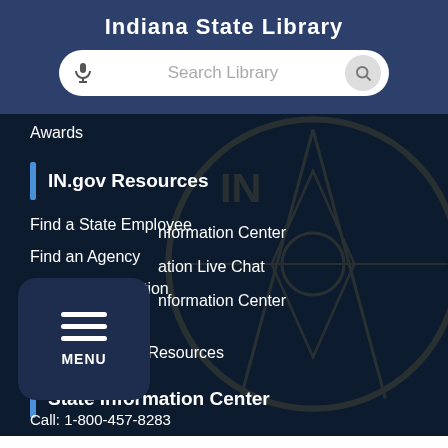Indiana State Library
[Figure (screenshot): Search bar with microphone icon and search button]
Awards
IN.gov Resources
Find a State Employee
Find an Agency
Maps & Information
IN.gov FAQs
State Employee Resources
State Information Center
Information Center
ation Live Chat
nformation Center
Call: 1-800-457-8283